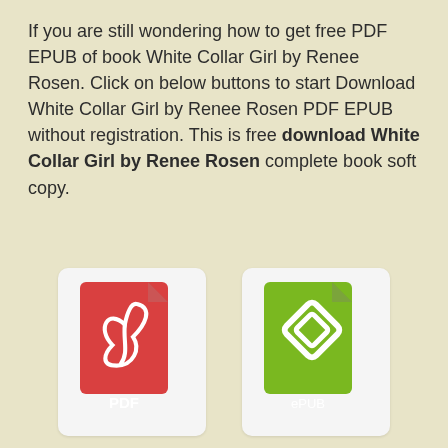If you are still wondering how to get free PDF EPUB of book White Collar Girl by Renee Rosen. Click on below buttons to start Download White Collar Girl by Renee Rosen PDF EPUB without registration. This is free download White Collar Girl by Renee Rosen complete book soft copy.
[Figure (illustration): Two file icons side by side: a red PDF icon with Adobe Acrobat logo and the text PDF, and a green ePUB icon with an ePub logo and the text ePUB, both on white rounded-rectangle cards.]